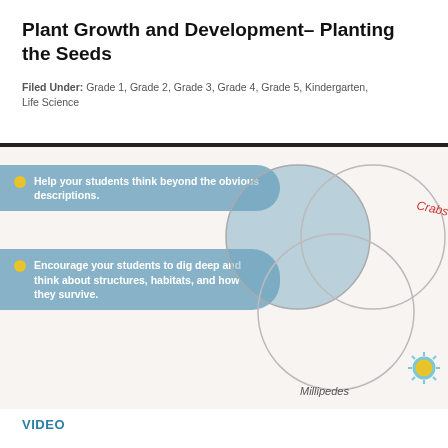Plant Growth and Development– Planting the Seeds
Filed Under: Grade 1, Grade 2, Grade 3, Grade 4, Grade 5, Kindergarten, Life Science
[Figure (infographic): An infographic image showing two blue pill-shaped bullet points on the left side with text, overlapping with a Venn diagram of three circles (labeled 'Crabs' and 'Millipedes') on the right. A yellow sun icon appears in the bottom right corner.]
VIDEO